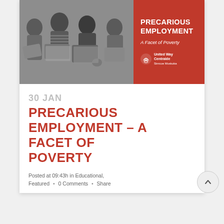[Figure (photo): Banner image split into two halves: left side is a grayscale photo of people sitting and holding folders/papers, right side is a red panel with bold white text 'PRECARIOUS EMPLOYMENT', italic subtitle 'A Facet of Poverty', and United Way Centraide Simcoe Muskoka logo.]
30 JAN
PRECARIOUS EMPLOYMENT – A FACET OF POVERTY
Posted at 09:43h in Educational, Featured  •  0 Comments  •  Share